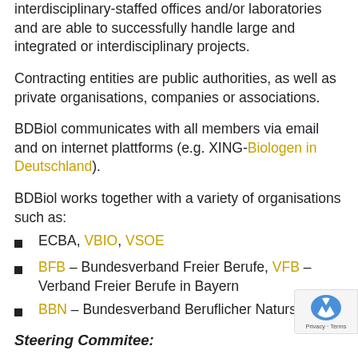interdisciplinary-staffed offices and/or laboratories and are able to successfully handle large and integrated or interdisciplinary projects.
Contracting entities are public authorities, as well as private organisations, companies or associations.
BDBiol communicates with all members via email and on internet plattforms (e.g. XING-Biologen in Deutschland).
BDBiol works together with a variety of organisations such as:
ECBA, VBIO, VSOE
BFB – Bundesverband Freier Berufe, VFB – Verband Freier Berufe in Bayern
BBN – Bundesverband Beruflicher Naturschutz
Steering Commitee: